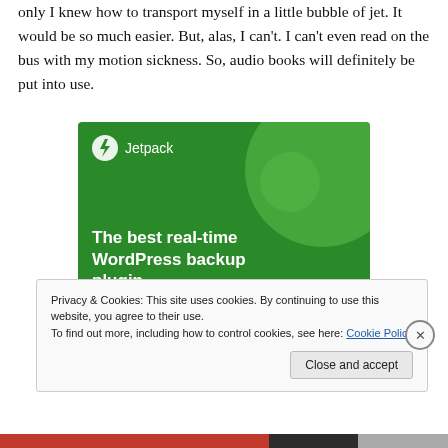only I knew how to transport myself in a little bubble of jet. It would be so much easier. But, alas, I can't. I can't even read on the bus with my motion sickness. So, audio books will definitely be put into use.
[Figure (illustration): Jetpack advertisement banner with dark green background, large light green decorative circles, Jetpack logo (lightning bolt icon) and text 'Jetpack' in white, and bold white headline text: 'The best real-time WordPress backup plugin']
Privacy & Cookies: This site uses cookies. By continuing to use this website, you agree to their use.
To find out more, including how to control cookies, see here: Cookie Policy
Close and accept